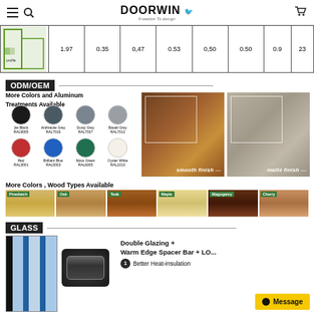DOORWIN — Freedom To design
| Image | 1.97 | 0.35 | 0.47 | 0.53 | 0.50 | 0.50 | 0.9 | 23 |
| --- | --- | --- | --- | --- | --- | --- | --- | --- |
ODM/OEM
More Colors and Aluminum Treatments Available
[Figure (infographic): Color swatches: Jet Black RAL9005, Anthracite Grey RAL7016, Dusty Grey RAL7037, Basalt Grey RAL7012, Red RAL3001, Brilliant Blue RAL5003, Moss Green RAL6005, Oyster White RAL1013]
[Figure (photo): Smooth finish aluminum surface in brown/bronze color]
[Figure (photo): Matte finish aluminum surface in grey color]
More Colors, Wood Types Available
[Figure (infographic): Wood type samples: Pinedatch, Oak, Teak, Maple, Magogamy, Cherry]
GLASS
[Figure (photo): Cross-section of double glazing glass unit]
[Figure (photo): Warm Edge Spacer Bar component]
Double Glazing + Warm Edge Spacer Bar + LO... Better Heat-insulation
Message